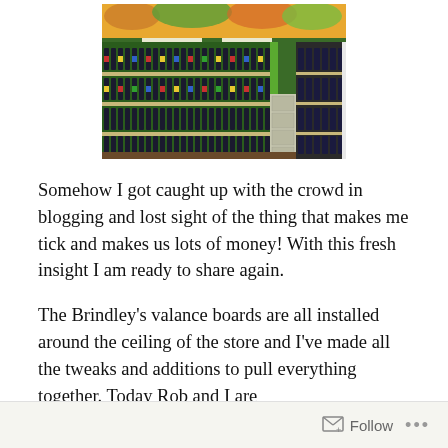[Figure (photo): Interior of a wine/liquor store showing shelves lined with many bottles of wine and liquor. The walls are green with a tropical mural near the ceiling. Shelves are packed with bottles. There is a refrigerated section visible on the right side.]
Somehow I got caught up with the crowd in blogging and lost sight of the thing that makes me tick and makes us lots of money! With this fresh insight I am ready to share again.
The Brindley's valance boards are all installed around the ceiling of the store and I've made all the tweaks and additions to pull everything together. Today Rob and I are
Follow ...